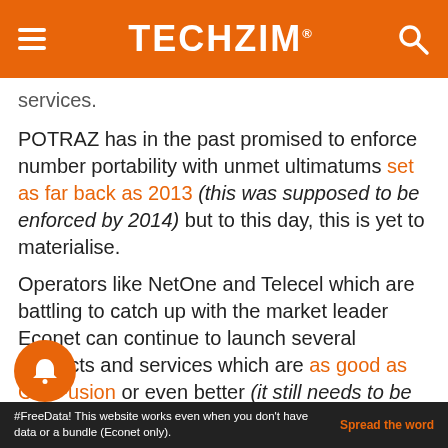TECHZiM
services.
POTRAZ has in the past promised to enforce number portability with unmet ultimatums set as far back as 2013 (this was supposed to be enforced by 2014) but to this day, this is yet to materialise.
Operators like NetOne and Telecel which are battling to catch up with the market leader Econet can continue to launch several products and services which are as good as OneFusion or even better (it still needs to be improved), but without a true “level playing field” that comes with number portability they’ll always struggle to attract new users.
#FreeData! This website works even when you don't have data or a bundle (Econet only). Spread the word